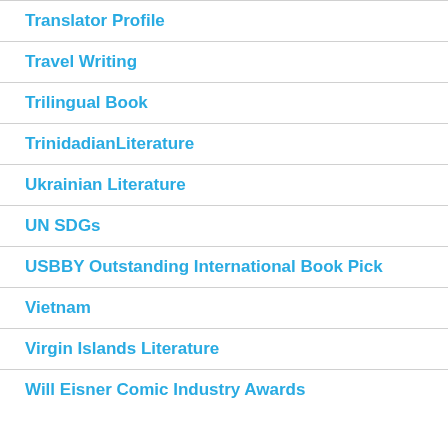Translator Profile
Travel Writing
Trilingual Book
TrinidadianLiterature
Ukrainian Literature
UN SDGs
USBBY Outstanding International Book Pick
Vietnam
Virgin Islands Literature
Will Eisner Comic Industry Awards